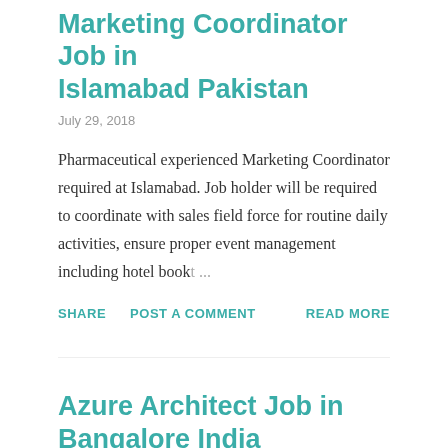Marketing Coordinator Job in Islamabad Pakistan
July 29, 2018
Pharmaceutical experienced Marketing Coordinator required at Islamabad. Job holder will be required to coordinate with sales field force for routine daily activities, ensure proper event management including hotel book...
SHARE   POST A COMMENT   READ MORE
Azure Architect Job in Bangalore India
July 29, 2018